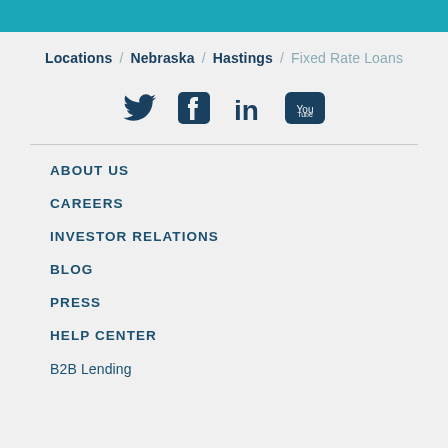Locations / Nebraska / Hastings / Fixed Rate Loans
[Figure (other): Social media icons: Twitter, Facebook, LinkedIn, YouTube]
ABOUT US
CAREERS
INVESTOR RELATIONS
BLOG
PRESS
HELP CENTER
B2B Lending